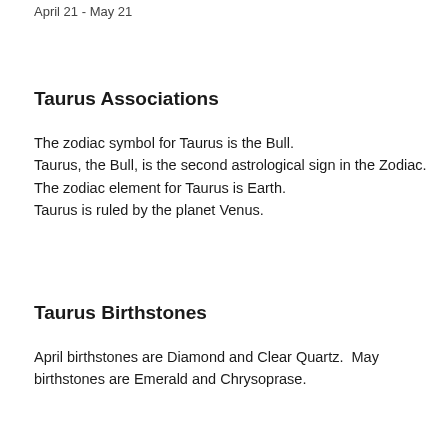April 21 - May 21
Taurus Associations
The zodiac symbol for Taurus is the Bull. Taurus, the Bull, is the second astrological sign in the Zodiac. The zodiac element for Taurus is Earth. Taurus is ruled by the planet Venus.
Taurus Birthstones
April birthstones are Diamond and Clear Quartz.  May birthstones are Emerald and Chrysoprase.